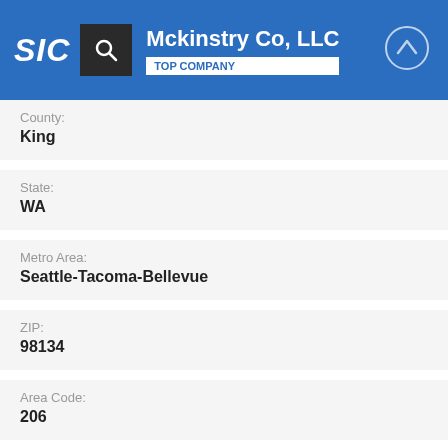SIC | Mckinstry Co, LLC | TOP COMPANY
King
State: WA
Metro Area: Seattle-Tacoma-Bellevue
ZIP: 98134
Area Code: 206